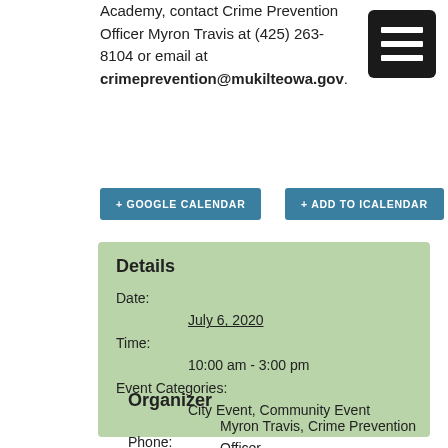Academy, contact Crime Prevention Officer Myron Travis at (425) 263-8104 or email at crimeprevention@mukilteowa.gov.
[Figure (other): Menu/hamburger icon — dark rectangle with three white horizontal lines]
+ GOOGLE CALENDAR
+ ADD TO ICALENDAR
Details
Date:
    July 6, 2020
Time:
    10:00 am - 3:00 pm
Event Categories:
    City Event, Community Event
Organizer
Myron Travis, Crime Prevention Officer
Phone:
    425.263.8104
Email: